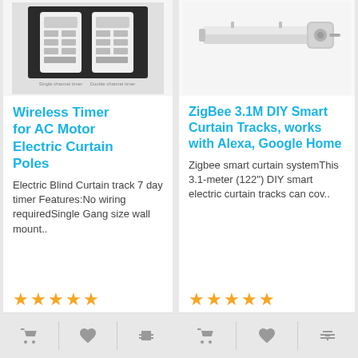[Figure (photo): Product image of wireless timer remote controls for AC motor electric curtain poles, showing single and double channel timer remotes on dark background]
Wireless Timer for AC Motor Electric Curtain Poles
Electric Blind Curtain track 7 day timer Features:No wiring requiredSingle Gang size wall mount..
★★★★★
£45.00
Ex Tax: £45.00
[Figure (photo): Product image of ZigBee smart curtain track motor, white/silver aluminum bar with motor component, on white background]
ZigBee 3.1M DIY Smart Curtain Tracks, works with Alexa, Google Home
Zigbee smart curtain systemThis 3.1-meter (122") DIY smart electric curtain tracks can cov..
★★★★★
£240.00
Ex Tax: £240.00